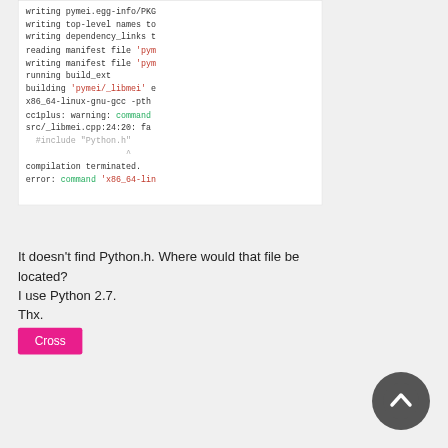[Figure (screenshot): Terminal/code output block showing build log with colored text (red for quoted strings, green for command names). Lines include: writing pymei.egg-info/PKG..., writing top-level names to..., writing dependency_links t..., reading manifest file 'pym..., writing manifest file 'pym..., running build_ext, building 'pymei/_libmei' e..., x86_64-linux-gnu-gcc -pth..., cc1plus: warning: command..., src/_libmei.cpp:24:20: fat..., #include "Python.h", ^, compilation terminated., error: command 'x86_64-lin...]
It doesn't find Python.h. Where would that file be located?
I use Python 2.7.
Thx.